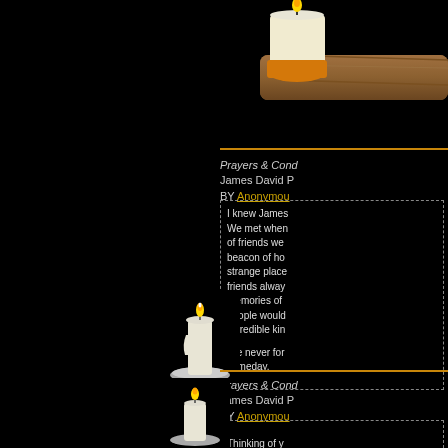[Figure (photo): Top portion of a lit candle being held by a wooden stick/torch against a black background]
Prayers & Condolences for James David P BY Anonymous
I knew James... We met when... of friends we... beacon of ho... strange place... friends alway... memories of... people would... incredible kin...

I've never for... someday.
[Figure (photo): Small lit candle on a holder/dish against black background]
Prayers & Condolences for James David P BY Anonymous
Thinking of y... hug.
[Figure (photo): Small lit candle on a holder/dish against black background, partially visible at bottom]